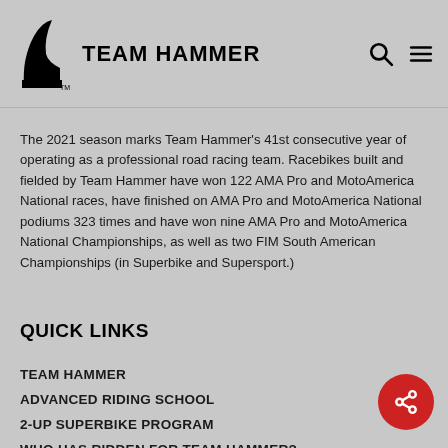TEAM HAMMER
The 2021 season marks Team Hammer's 41st consecutive year of operating as a professional road racing team. Racebikes built and fielded by Team Hammer have won 122 AMA Pro and MotoAmerica National races, have finished on AMA Pro and MotoAmerica National podiums 323 times and have won nine AMA Pro and MotoAmerica National Championships, as well as two FIM South American Championships (in Superbike and Supersport.)
QUICK LINKS
TEAM HAMMER
ADVANCED RIDING SCHOOL
2-UP SUPERBIKE PROGRAM
WHO HAS RIDDEN FOR TEAM HAMMER?